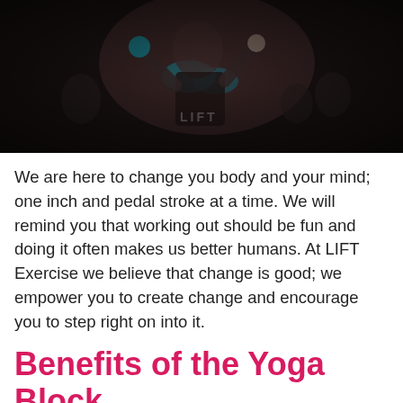[Figure (photo): Dark indoor fitness/cycling class photo showing an energetic instructor with teal wristbands gesturing with hands, participants visible in background]
We are here to change you body and your mind; one inch and pedal stroke at a time. We will remind you that working out should be fun and doing it often makes us better humans. At LIFT Exercise we believe that change is good; we empower you to create change and encourage you to step right on into it.
Benefits of the Yoga Block
[Figure (photo): Bright studio photo showing a person in grey tank top and pants doing a yoga or barre exercise, with other people at a barre rail in the background]